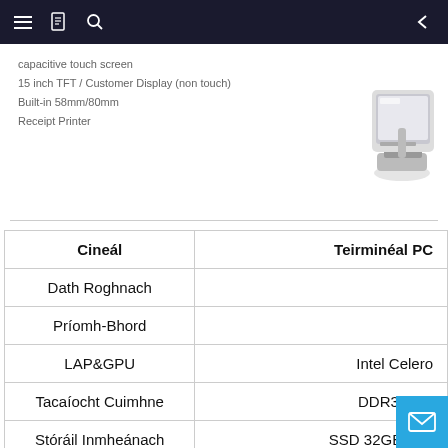Navigation bar with menu, book, search, and back icons
capacitive touch screen
15 inch TFT / Customer Display (non touch)
Built-in 58mm/80mm
Receipt Printer
[Figure (photo): Product photo of a POS terminal device, white/silver colored hardware unit]
| Cineál | Teirminéal PC |
| --- | --- |
| Dath Roghnach |  |
| Príomh-Bhord |  |
| LAP&GPU | Intel Celero |
| Tacaíocht Cuimhne | DDR3 2GB |
| Stóráil Inmheánach | SSD 32GB (réa |
| Príomhtheagmháil Taispeána (réamhshocraithe) | 15 orlach TFT LCD/LI |